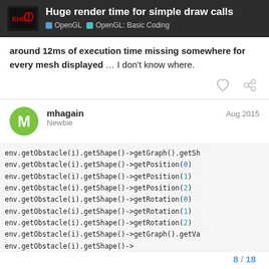Huge render time for simple draw calls | OpenGL | OpenGL: Basic Coding
around 12ms of execution time missing somewhere for every mesh displayed … I don't know where.
mhagain Newbie Aug 2015
env.getObstacle(i).getShape()->getGraph().getSh
env.getObstacle(i).getShape()->getPosition(0)
env.getObstacle(i).getShape()->getPosition(1)
env.getObstacle(i).getShape()->getPosition(2)
env.getObstacle(i).getShape()->getRotation(0)
env.getObstacle(i).getShape()->getRotation(1)
env.getObstacle(i).getShape()->getRotation(2)
env.getObstacle(i).getShape()->getGraph().getVa
env.getObstacle(i).getShape()->
8 / 18